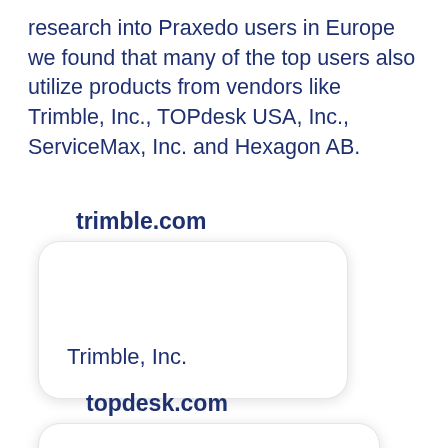research into Praxedo users in Europe we found that many of the top users also utilize products from vendors like Trimble, Inc., TOPdesk USA, Inc., ServiceMax, Inc. and Hexagon AB.
[Figure (other): Rounded card with URL 'trimble.com' and company name 'Trimble, Inc.' displayed in dark blue on white background with shadow]
[Figure (other): Rounded card with URL 'topdesk.com' displayed in dark blue on white background with shadow, partially visible at bottom]